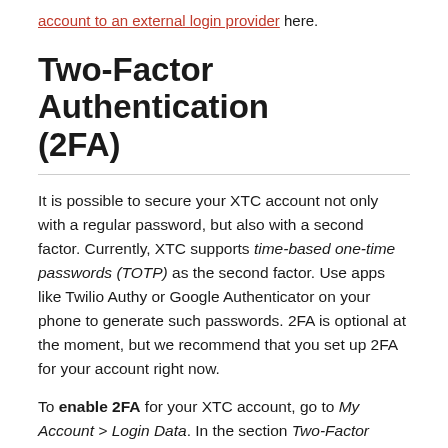account to an external login provider here.
Two-Factor Authentication (2FA)
It is possible to secure your XTC account not only with a regular password, but also with a second factor. Currently, XTC supports time-based one-time passwords (TOTP) as the second factor. Use apps like Twilio Authy or Google Authenticator on your phone to generate such passwords. 2FA is optional at the moment, but we recommend that you set up 2FA for your account right now.
To enable 2FA for your XTC account, go to My Account > Login Data. In the section Two-Factor Authentication, click the button Enable Two-Factor Authentication and follow the instructions to set up your preferred TOTP app on your